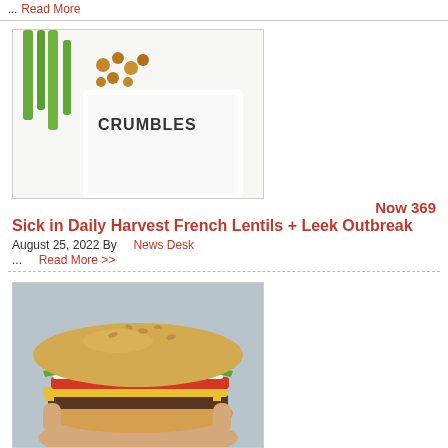... Read More
[Figure (photo): Photo of Daily Harvest French Lentils + Leek Crumbles product packaging with green onions and lentils]
Now 369
Sick in Daily Harvest French Lentils + Leek Outbreak
August 25, 2022 By  News Desk
...  Read More >>
[Figure (photo): Photo of a Wendy's style hamburger being held, with lettuce, tomato, cheese, and beef patty on a sesame bun]
Wendy's E. coli Outbreak – 53 Sick in Michigan, 8 with HUS